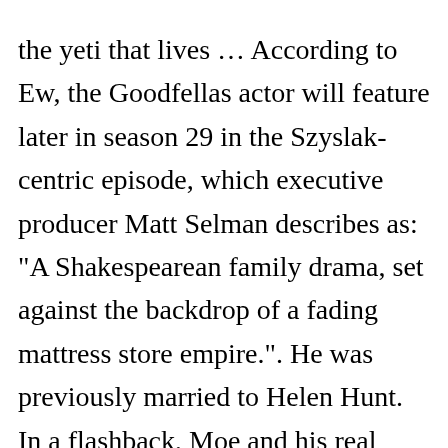the yeti that lives … According to Ew, the Goodfellas actor will feature later in season 29 in the Szyslak-centric episode, which executive producer Matt Selman describes as: "A Shakespearean family drama, set against the backdrop of a fading mattress store empire.". He was previously married to Helen Hunt. In a flashback, Moe and his real father were singing "Only Springfield". [1] Moe is the proprietor and bartender of Moe's Tavern, a Springfield bar frequented by Homer Simpson, Barney Gumble, Lenny Leonard, Carl Carlson, Sam, … The past of